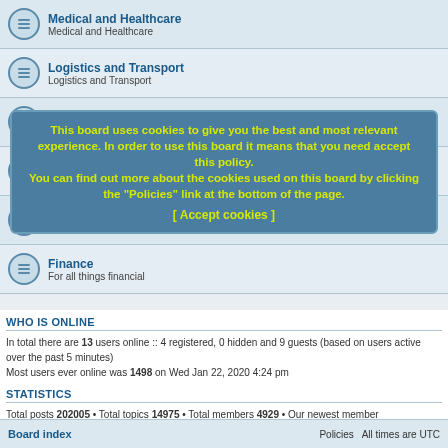Medical and Healthcare — Medical and Healthcare
Logistics and Transport — Logistics and Transport
Food, Nutrition and Agriculture
DIY and Handicrafts
Radio Communications
Finance — For all things financial
This board uses cookies to give you the best and most relevant experience. In order to use this board it means that you need accept this policy. You can find out more about the cookies used on this board by clicking the "Policies" link at the bottom of the page. [ Accept cookies ]
WHO IS ONLINE
In total there are 13 users online :: 4 registered, 0 hidden and 9 guests (based on users active over the past 5 minutes)
Most users ever online was 1498 on Wed Jan 22, 2020 4:24 pm
STATISTICS
Total posts 202005 • Total topics 14975 • Total members 4929 • Our newest member Paracord1945
Board index    Policies  All times are UTC